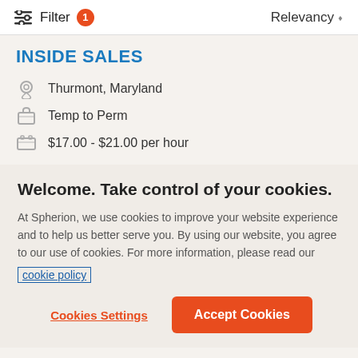Filter  1    Relevancy
INSIDE SALES
Thurmont, Maryland
Temp to Perm
$17.00 - $21.00 per hour
Welcome. Take control of your cookies.
At Spherion, we use cookies to improve your website experience and to help us better serve you. By using our website, you agree to our use of cookies. For more information, please read our cookie policy
Cookies Settings    Accept Cookies